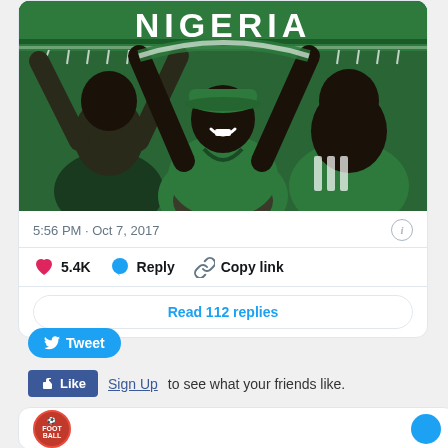[Figure (photo): Nigeria football fans holding a green and white NIGERIA scarf banner above their heads, smiling and celebrating. People wearing green jerseys including one with Adidas logo.]
5:56 PM · Oct 7, 2017
5.4K  Reply  Copy link
Read 112 replies
Tweet
Like  Sign Up to see what your friends like.